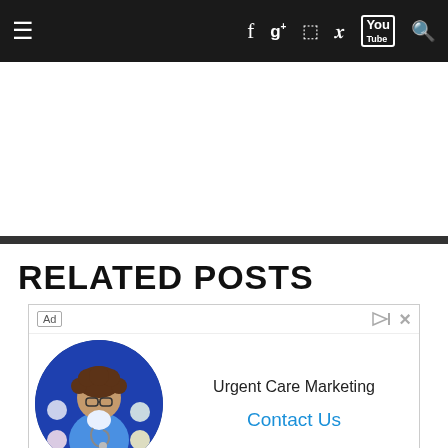Navigation bar with hamburger menu, Facebook, Google+, Instagram, Twitter, YouTube, and Search icons
RELATED POSTS
[Figure (other): Advertisement box for Urgent Care Marketing featuring a doctor in scrubs with a stethoscope on a blue circular background, with 'Ad' label, play/close buttons, headline 'Urgent Care Marketing', and 'Contact Us' call-to-action link]